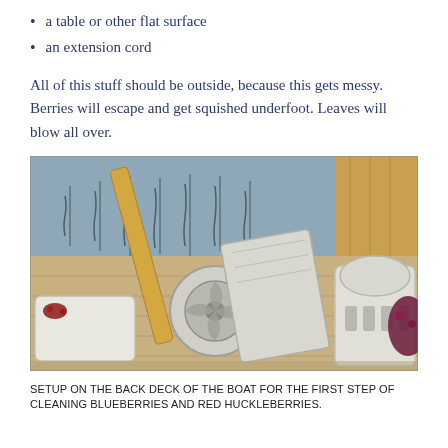a table or other flat surface
an extension cord
All of this stuff should be outside, because this gets messy. Berries will escape and get squished underfoot. Leaves will blow all over.
[Figure (photo): Photo of cleaning setup on the back deck of a boat, showing baskets, a fan/blower device, and berries on a wooden dock surface with water visible in the background.]
SETUP ON THE BACK DECK OF THE BOAT FOR THE FIRST STEP OF CLEANING BLUEBERRIES AND RED HUCKLEBERRIES.